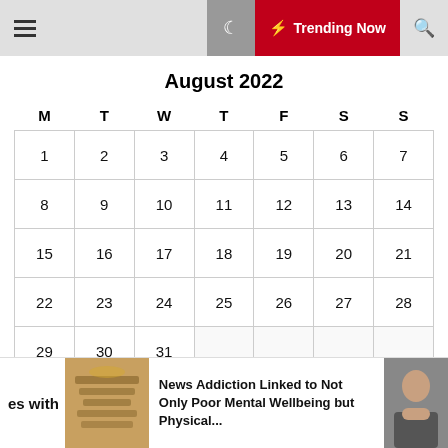Menu | Moon | Trending Now | Search
August 2022
| M | T | W | T | F | S | S |
| --- | --- | --- | --- | --- | --- | --- |
| 1 | 2 | 3 | 4 | 5 | 6 | 7 |
| 8 | 9 | 10 | 11 | 12 | 13 | 14 |
| 15 | 16 | 17 | 18 | 19 | 20 | 21 |
| 22 | 23 | 24 | 25 | 26 | 27 | 28 |
| 29 | 30 | 31 |  |  |  |  |
« Jul
es with
News Addiction Linked to Not Only Poor Mental Wellbeing but Physical...